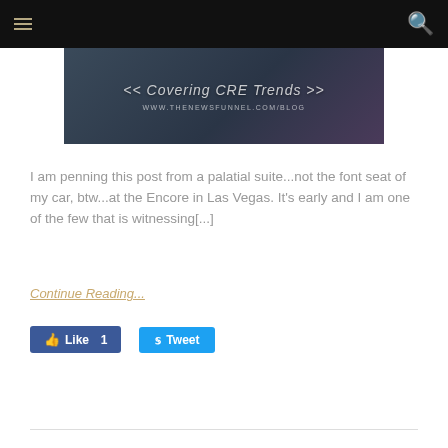[Figure (screenshot): Blog banner image showing '<<Covering CRE Trends>>' and 'WWW.THENEWSFUNNEL.COM/BLOG' on a dark gradient background]
I am penning this post from a palatial suite...not the font seat of my car, btw...at the Encore in Las Vegas. It's early and I am one of the few that is witnessing[...]
Continue Reading...